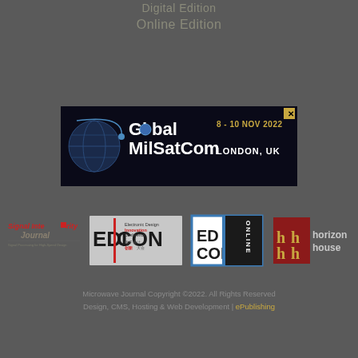Digital Edition
Online Edition
[Figure (other): Global MilSatCom advertisement banner: dark navy background with globe graphic, text 'Global MilSatCom 8-10 NOV 2022 LONDON, UK']
[Figure (logo): Row of four logos: Signal Integrity Journal, EDICON (Electronic Design Innovation Conference), EDICON Online, Horizon House]
Microwave Journal Copyright ©2022. All Rights Reserved Design, CMS, Hosting & Web Development | ePublishing